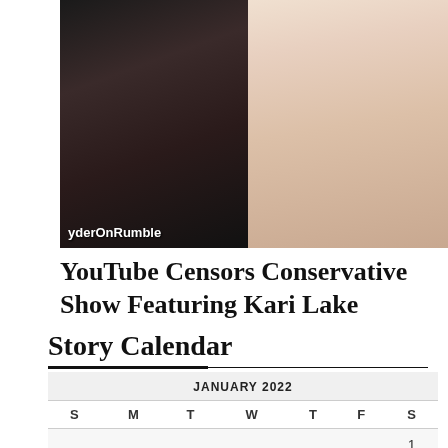[Figure (photo): Two side-by-side images: left shows a TV host on a dark set with text overlay 'yderOnRumble', right shows a woman with blonde hair in a light pink top]
YouTube Censors Conservative Show Featuring Kari Lake
Story Calendar
| S | M | T | W | T | F | S |
| --- | --- | --- | --- | --- | --- | --- |
|  |  |  |  |  |  | 1 |
| 2 | 3 | 4 | 5 | 6 | 7 | 8 |